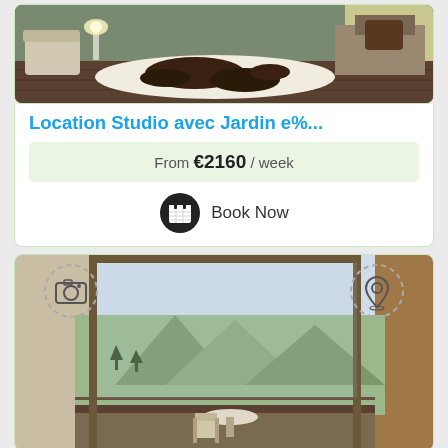[Figure (photo): Interior room photo showing a cow-hide rug on wooden floor with chairs and furniture]
Location Studio avec Jardin e
From €2160 / week
Book Now
[Figure (photo): Balcony view photo showing mountain landscape through sliding glass door with a table and chair on green mat balcony, with camera and location pin icons overlaid]